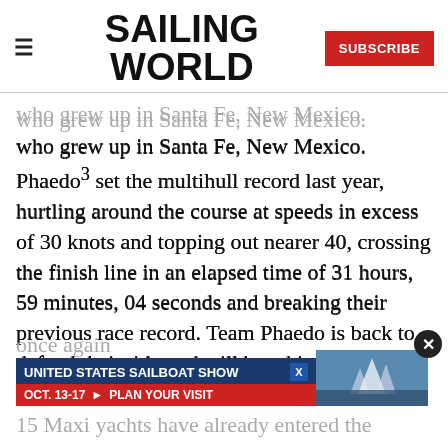SAILING WORLD | SUBSCRIBE
who grew up in Santa Fe, New Mexico. Phaedo³ set the multihull record last year, hurtling around the course at speeds in excess of 30 knots and topping out nearer 40, crossing the finish line in an elapsed time of 31 hours, 59 minutes, 04 seconds and breaking their previous race record. Team Phaedo is back to defend their title and will be taking a tilt at their own record
once again
[Figure (other): Advertisement: United States Sailboat Show, Oct. 13-17 – Plan Your Visit, with sailboat image]
15 Maxi yachts have already entered the